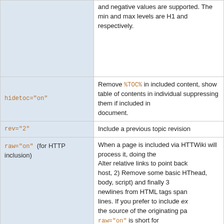| Parameter | Description |
| --- | --- |
| (top row continued) | and negative values are supported. The min and max levels are H1 and respectively. |
| hidetoc="on" | Remove %TOC% in included content, show table of contents in individual suppressing them if included in document. |
| rev="2" | Include a previous topic revision |
| raw="on" (for HTTP inclusion) | When a page is included via HTTP, TWiki will process it, doing the following: Alter relative links to point back to host, 2) Remove some basic HTML (head, body, script) and finally 3) remove newlines from HTML tags spanning lines. If you prefer to include exact the source of the originating page, raw="on" is short for disableremoveheaders="on", disableremovescript="on", disableremovebody="on", disablecompresstags="on" and |